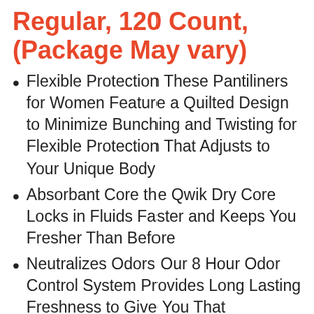Regular, 120 Count, (Package May vary)
Flexible Protection These Pantiliners for Women Feature a Quilted Design to Minimize Bunching and Twisting for Flexible Protection That Adjusts to Your Unique Body
Absorbant Core the Qwik Dry Core Locks in Fluids Faster and Keeps You Fresher Than Before
Neutralizes Odors Our 8 Hour Odor Control System Provides Long Lasting Freshness to Give You That